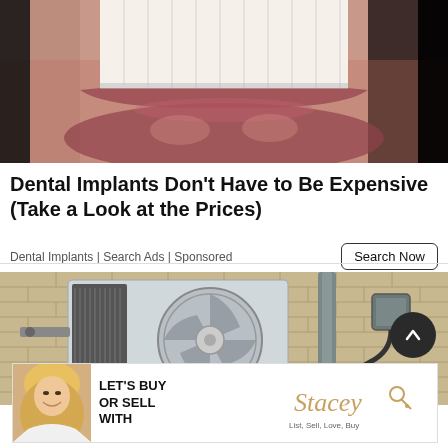[Figure (photo): Close-up photo of a man's smile showing white teeth and stubble]
Dental Implants Don't Have to Be Expensive (Take a Look at the Prices)
Dental Implants | Search Ads | Sponsored
[Figure (photo): Photo of a mini-split air conditioning unit mounted on a brick wall with wiring and conduit]
[Figure (photo): Banner advertisement: LET'S BUY OR SELL WITH Stacey — List, Sell, Love, Buy. Features a blonde woman smiling.]